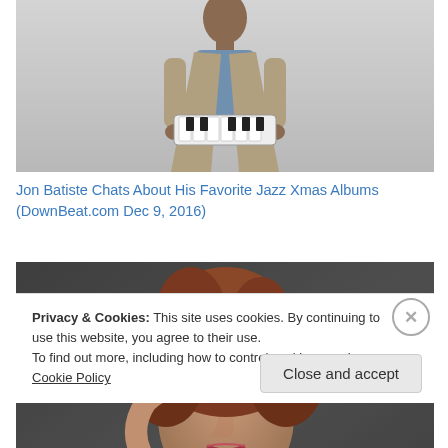[Figure (photo): Photo of a man in a suit holding a small keyboard/melodica instrument, cropped at the torso, on a light gray background]
Jon Batiste Chats About His Favorite Jazz Xmas Albums (DownBeat.com Dec 9, 2016)
[Figure (photo): Portrait photo of a young woman with reddish-brown hair, looking at the camera, against a dark textured background]
Privacy & Cookies: This site uses cookies. By continuing to use this website, you agree to their use.
To find out more, including how to control cookies, see here: Cookie Policy
Close and accept